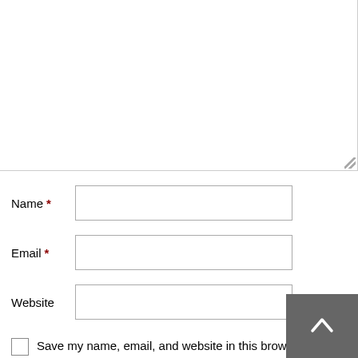[Figure (screenshot): A large textarea input box with resize handle at bottom right, mostly empty/white]
Name *
Email *
Website
Save my name, email, and website in this browser for the next time I comment.